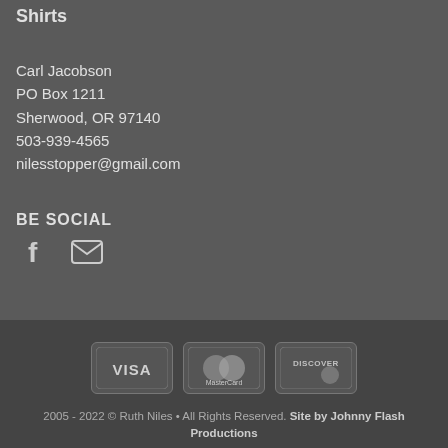Shirts
Carl Jacobson
PO Box 1211
Sherwood, OR 97140
503-939-4565
nilesstopper@gmail.com
BE SOCIAL
[Figure (illustration): Facebook icon (f) and email envelope icon in grey]
[Figure (illustration): Payment card logos: VISA, MasterCard, Discover]
2005 - 2022 © Ruth Niles • All Rights Reserved. Site by Johnny Flash Productions